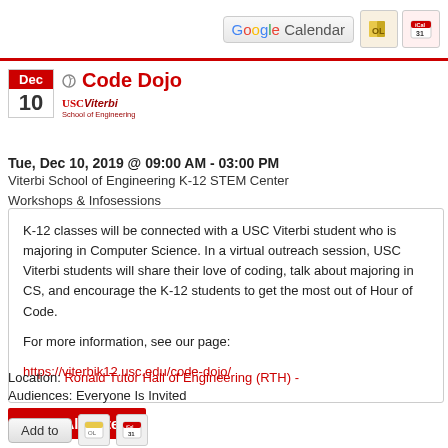[Figure (logo): Google Calendar button and calendar export icons in top right]
Code Dojo
[Figure (logo): USC Viterbi School of Engineering logo]
Tue, Dec 10, 2019 @ 09:00 AM - 03:00 PM
Viterbi School of Engineering K-12 STEM Center
Workshops & Infosessions
K-12 classes will be connected with a USC Viterbi student who is majoring in Computer Science. In a virtual outreach session, USC Viterbi students will share their love of coding, talk about majoring in CS, and encourage the K-12 students to get the most out of Hour of Code.

For more information, see our page:

https://viterbik12.usc.edu/code-dojo/
Location: Ronald Tutor Hall of Engineering (RTH) -
Audiences: Everyone Is Invited
View All Dates
Contact: Katie Mills/Viterbi K-12 STEM Center